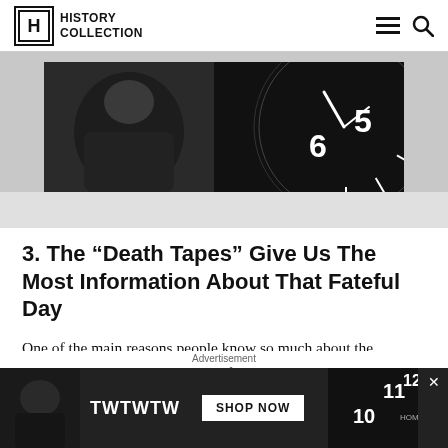HISTORY COLLECTION
[Figure (photo): Article header image showing a dark scene with a person and a large clock face showing numbers 5 and 6]
3. The “Death Tapes” Give Us The Most Information About That Fateful Day
One of the main reasons people know so much about the Jonestown massacre is because of the audio recordings tapped on that day. These tapes
Advertisement
[Figure (photo): Advertisement banner showing TWTWTW text with SHOP NOW button and a clock face, with Homage branding]